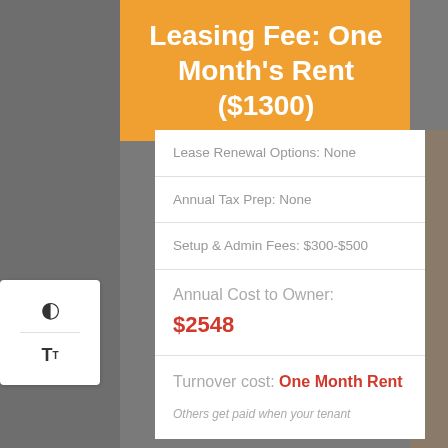Leasing Fee: One Month's Rent ($1300)
Lease Renewal Options: None
Annual Tax Prep: None
Setup & Admin Fees: $300-$500
Annual Cost to Owner: $2548
Turnover cost: One Month Rent
Others get paid when your tenant